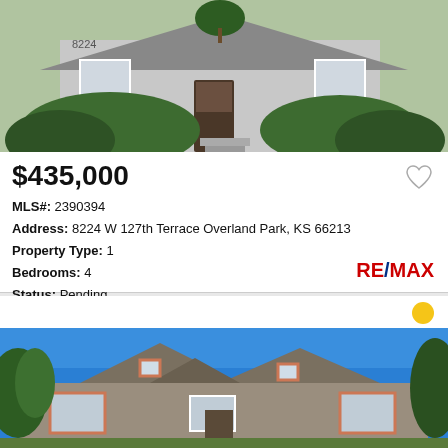[Figure (photo): Exterior photo of a house with trimmed green hedges and gray siding, front door visible]
$435,000
MLS#: 2390394
Address: 8224 W 127th Terrace Overland Park, KS 66213
Property Type: 1
Bedrooms: 4
Status: Pending
Listing provided courtesy of RE/MAX Infinity
[Figure (logo): RE/MAX logo in red and blue]
[Figure (photo): Exterior photo of a two-story house with brown/tan siding, multiple gabled rooflines, red shutters, blue sky background]